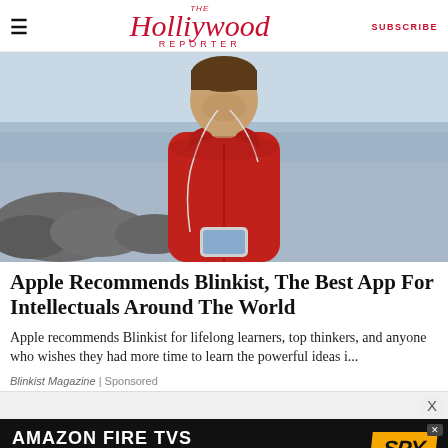THE Hollywood Reporter | SUBSCRIBE
[Figure (photo): Man in red hoodie wearing earbuds looking down at smartphone, standing near rocky shoreline with water in background]
Apple Recommends Blinkist, The Best App For Intellectuals Around The World
Apple recommends Blinkist for lifelong learners, top thinkers, and anyone who wishes they had more time to learn the powerful ideas i...
Blinkist Magazine | Sponsored
[Figure (infographic): Amazon Fire TVs advertisement banner: AMAZON FIRE TVS AS LOW AS $319 with SPY logo on yellow background]